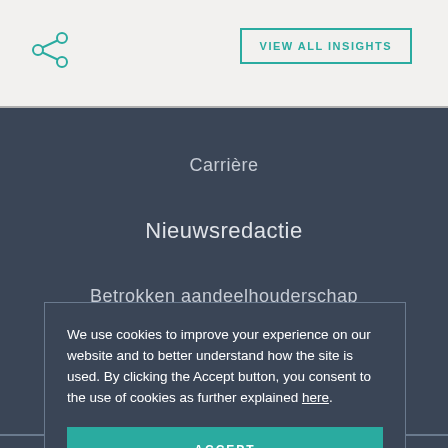VIEW ALL INSIGHTS
Carrière
Nieuwsredactie
Betrokken aandeelhouderschap
We use cookies to improve your experience on our website and to better understand how the site is used. By clicking the Accept button, you consent to the use of cookies as further explained here.
ACCEPT
Gebruikersvoorwaarden aanvaardt.